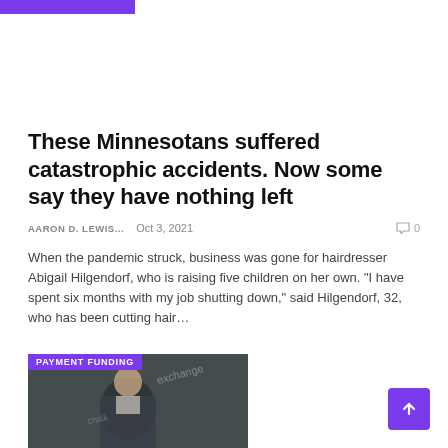[Figure (other): Purple decorative bar at top of page]
These Minnesotans suffered catastrophic accidents. Now some say they have nothing left
AARON D. LEWIS...   Oct 3, 2021   0
When the pandemic struck, business was gone for hairdresser Abigail Hilgendorf, who is raising five children on her own. “I have spent six months with my job shutting down,” said Hilgendorf, 32, who has been cutting hair…
[Figure (photo): Photo of a man in a suit jacket standing in front of a wall with graffiti/chalk art, with a PAYMENT FUNDING label badge overlaid in purple]